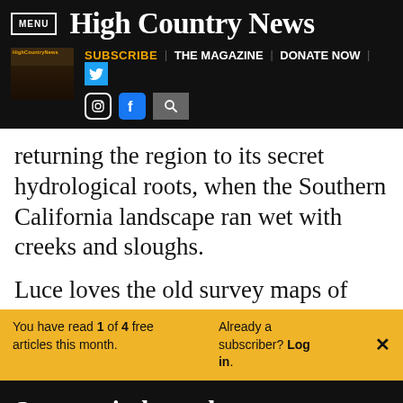MENU | High Country News — SUBSCRIBE | THE MAGAZINE | DONATE NOW
returning the region to its secret hydrological roots, when the Southern California landscape ran wet with creeks and sloughs.
Luce loves the old survey maps of this
You have read 1 of 4 free articles this month. Already a subscriber? Log in.
Support independent journalism.
Subscribe